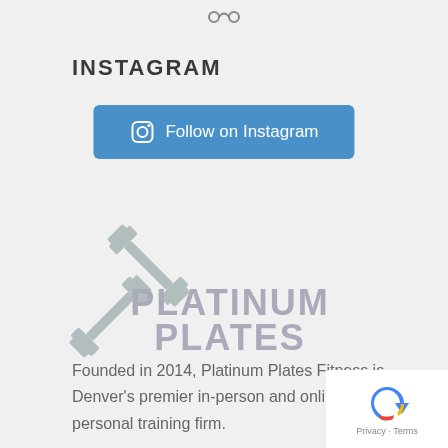[Figure (illustration): Small icon of two connected circles/nodes at top center of page]
INSTAGRAM
[Figure (illustration): Blue button with Instagram camera icon and text 'Follow on Instagram']
[Figure (logo): Platinum Plates Fitness logo with crossed dumbbells and bold text 'PLATINUM PLATES']
Founded in 2014, Platinum Plates Fitness is Denver's premier in-person and online personal training firm.
[Figure (illustration): Google reCAPTCHA widget in bottom-right corner with Privacy and Terms links]